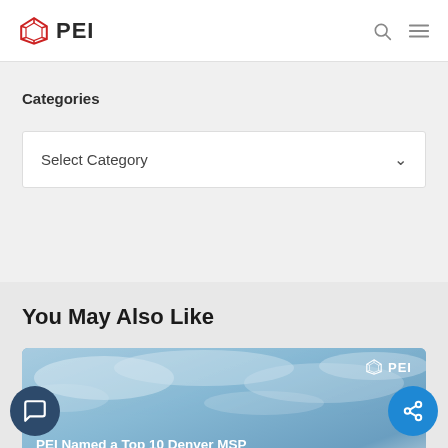PEI
Categories
Select Category
You May Also Like
[Figure (screenshot): Card image with sky background showing PEI logo, title 'PEI Named a Top 10 Denver MSP' and subtitle 'by Cloudtango']